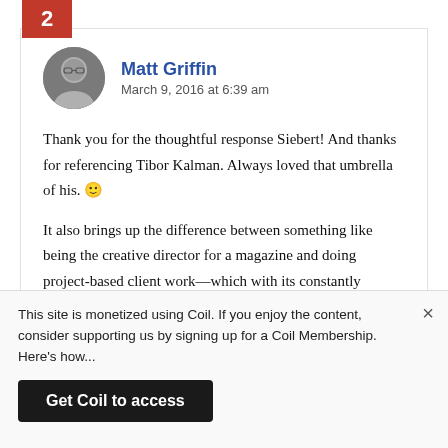2
Matt Griffin
March 9, 2016 at 6:39 am
Thank you for the thoughtful response Siebert! And thanks for referencing Tibor Kalman. Always loved that umbrella of his. 🙂
It also brings up the difference between something like being the creative director for a magazine and doing project-based client work—which with its constantly changing goals, is going to emphasize the need for selflessness in design a little more.
This site is monetized using Coil. If you enjoy the content, consider supporting us by signing up for a Coil Membership. Here's how...
Get Coil to access